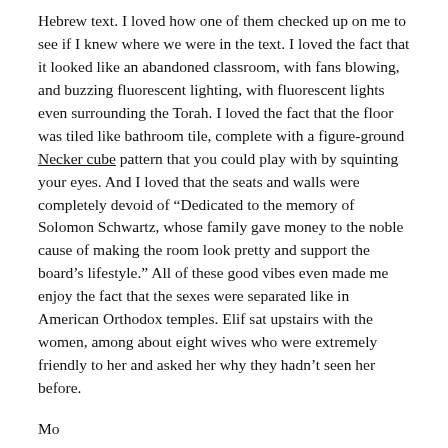Hebrew text.  I loved how one of them checked up on me to see if I knew where we were in the text.  I loved the fact that it looked like an abandoned classroom, with fans blowing, and buzzing fluorescent lighting, with fluorescent lights even surrounding the Torah.  I loved the fact that the floor was tiled like bathroom tile, complete with a figure-ground Necker cube pattern that you could play with by squinting your eyes.  And I loved that the seats and walls were completely devoid of “Dedicated to the memory of Solomon Schwartz, whose family gave money to the noble cause of making the room look pretty and support the board’s lifestyle.”  All of these good vibes even made me enjoy the fact that the sexes were separated like in American Orthodox temples. Elif sat upstairs with the women, among about eight wives who were extremely friendly to her and asked her why they hadn’t seen her before.
Mo...